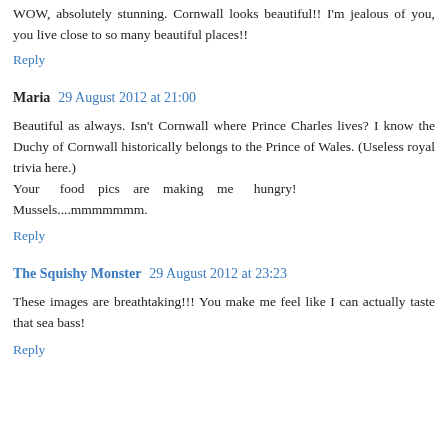WOW, absolutely stunning. Cornwall looks beautiful!! I'm jealous of you, you live close to so many beautiful places!!
Reply
Maria  29 August 2012 at 21:00
Beautiful as always. Isn't Cornwall where Prince Charles lives? I know the Duchy of Cornwall historically belongs to the Prince of Wales. (Useless royal trivia here.) Your food pics are making me hungry! Mussels....mmmmmmm.
Reply
The Squishy Monster  29 August 2012 at 23:23
These images are breathtaking!!! You make me feel like I can actually taste that sea bass!
Reply